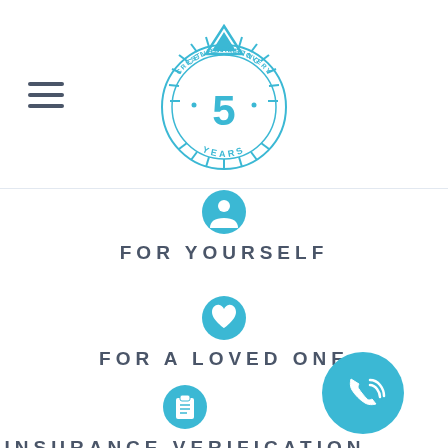[Figure (logo): Crestview Recovery celebrating 5 years logo — blue circular badge with sunburst, mountain triangle, text 'CRESTVIEW RECOVERY', 'CELEBRATING', '5', 'YEARS']
[Figure (illustration): Blue person/user icon indicating 'For Yourself']
FOR YOURSELF
[Figure (illustration): Blue heart icon indicating 'For a Loved One']
FOR A LOVED ONE
[Figure (illustration): Blue clipboard/list icon indicating 'Insurance Verification']
INSURANCE VERIFICATION
[Figure (illustration): Blue circular phone/call button with phone and signal waves icon, positioned bottom right]